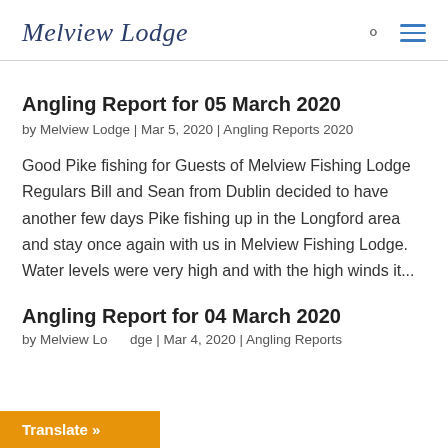Melview Lodge
Angling Report for 05 March 2020
by Melview Lodge | Mar 5, 2020 | Angling Reports 2020
Good Pike fishing for Guests of Melview Fishing Lodge Regulars Bill and Sean from Dublin decided to have another few days Pike fishing up in the Longford area and stay once again with us in Melview Fishing Lodge. Water levels were very high and with the high winds it...
Angling Report for 04 March 2020
by Melview Lodge | Mar 4, 2020 | Angling Reports
Translate »